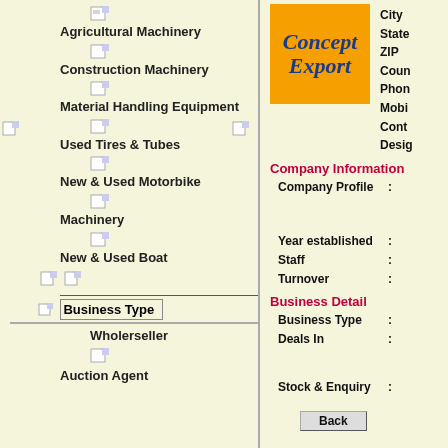Agricultural Machinery
Construction Machinery
Material Handling Equipment
Used Tires & Tubes
New & Used Motorbike
Machinery
New & Used Boat
Business Type
Wholerseller
Auction Agent
[Figure (logo): Concept Export logo on orange background with blue italic text]
City
State
ZIP
Country
Phone
Mobile
Contact
Desig
Company Information
Company Profile :
Year established :
Staff :
Turnover :
Business Detail
Business Type :
Deals In :
Stock & Enquiry :
Back